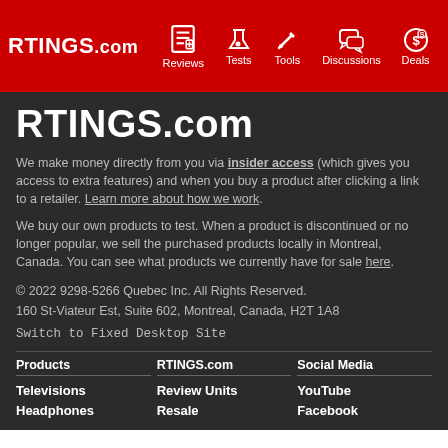RTINGS.com | Reviews | Tests | Tools | Discussions | Deals
RTINGS.com
We make money directly from you via insider access (which gives you access to extra features) and when you buy a product after clicking a link to a retailer. Learn more about how we work.
We buy our own products to test. When a product is discontinued or no longer popular, we sell the purchased products locally in Montreal, Canada. You can see what products we currently have for sale here.
© 2022 9298-5266 Quebec Inc. All Rights Reserved.
160 St-Viateur Est, Suite 602, Montreal, Canada, H2T 1A8
Switch to Fixed Desktop Site
Products
RTINGS.com
Social Media
Televisions
Review Units Resale
YouTube
Headphones
Facebook